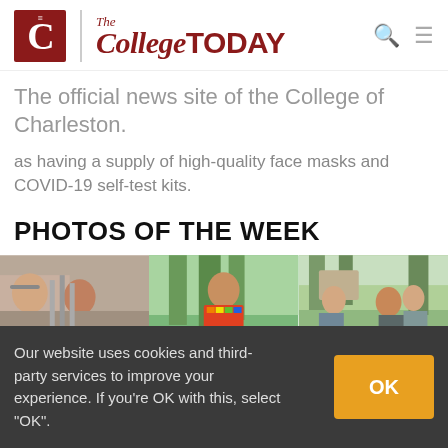[Figure (logo): The College TODAY logo with red C emblem and serif/sans wordmark]
The official news site of the College of Charleston.
as having a supply of high-quality face masks and COVID-19 self-test kits.
PHOTOS OF THE WEEK
[Figure (photo): Three side-by-side photos: lab scene with two people, student in rainbow shirt outdoors, students talking outdoors]
Our website uses cookies and third-party services to improve your experience. If you're OK with this, select "OK".